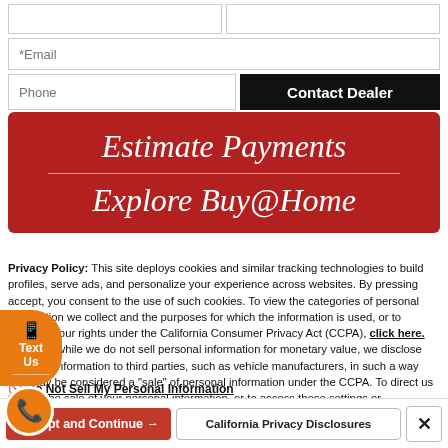[Figure (screenshot): Web form with Email and Phone fields, Contact Dealer button]
[Figure (screenshot): Red banner with 'Estimate Payments' and 'Explore Buy@Home' text]
Privacy Policy: This site deploys cookies and similar tracking technologies to build profiles, serve ads, and personalize your experience across websites. By pressing accept, you consent to the use of such cookies. To view the categories of personal information we collect and the purposes for which the information is used, or to exercise your rights under the California Consumer Privacy Act (CCPA), click here. Note that while we do not sell personal information for monetary value, we disclose personal information to third parties, such as vehicle manufacturers, in such a way that may be considered a "sale" of personal information under the CCPA. To direct us to stop the sale of your personal information, or to access these settings or disclosures at anytime, click the following icon or link:
Do Not Sell My Personal Information
Language: English    Powered by ComplyAuto
Accept and Continue →   California Privacy Disclosures   ×